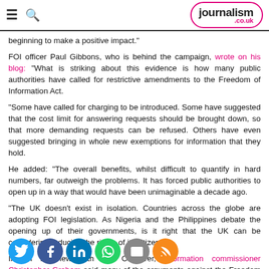journalism.co.uk
beginning to make a positive impact."
FOI officer Paul Gibbons, who is behind the campaign, wrote on his blog: "What is striking about this evidence is how many public authorities have called for restrictive amendments to the Freedom of Information Act.
"Some have called for charging to be introduced. Some have suggested that the cost limit for answering requests should be brought down, so that more demanding requests can be refused. Others have even suggested bringing in whole new exemptions for information that they hold.
He added: "The overall benefits, whilst difficult to quantify in hard numbers, far outweigh the problems. It has forced public authorities to open up in a way that would have been unimaginable a decade ago.
"The UK doesn't exist in isolation. Countries across the globe are adopting FOI legislation. As Nigeria and the Philippines debate the opening up of their governments, is it right that the UK can be considering reducing the rights of its citizens?"
In an interview with the Observer, information commissioner Christopher Graham said many of the arguments against the Freedom of Information Act were "nonsense".